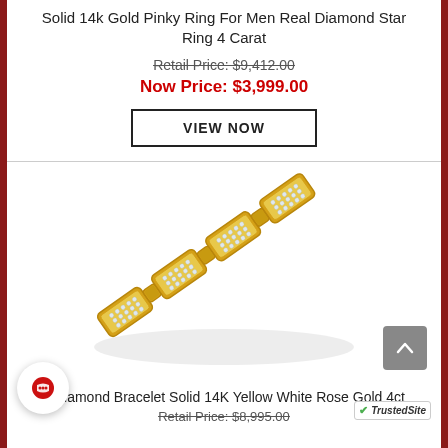Solid 14k Gold Pinky Ring For Men Real Diamond Star Ring 4 Carat
Retail Price: $9,412.00
Now Price: $3,999.00
VIEW NOW
[Figure (photo): Gold and diamond men's link bracelet, solid 14K yellow/white/rose gold, diagonal composition on white background]
s Diamond Bracelet Solid 14K Yellow White Rose Gold 4ct
Retail Price: $8,995.00